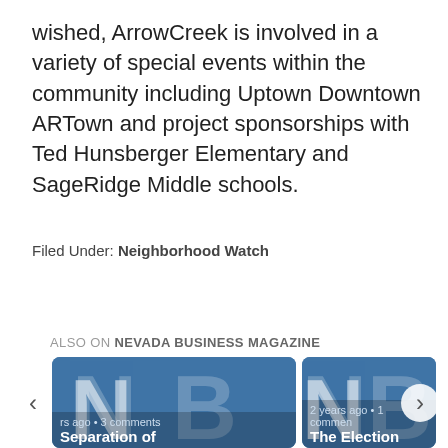wished, ArrowCreek is involved in a variety of special events within the community including Uptown Downtown ARTown and project sponsorships with Ted Hunsberger Elementary and SageRidge Middle schools.
Filed Under: Neighborhood Watch
ALSO ON NEVADA BUSINESS MAGAZINE
[Figure (screenshot): Carousel showing two Nevada Business Magazine article cards. Left card shows NB logo with text 'rs ago • 3 comments' and title 'Separation of'. Right card shows NB logo with text '2 years ago • 1 commen' and title 'The Election'. Left and right navigation arrows are visible.]